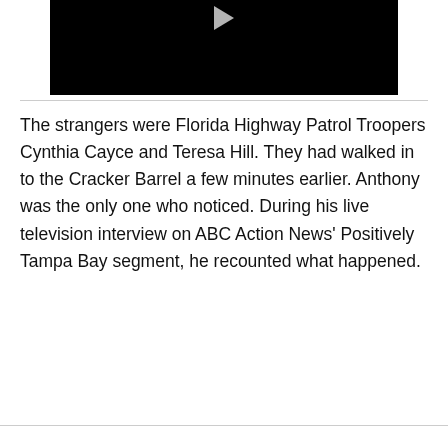[Figure (screenshot): Black video thumbnail with a semi-transparent white play button triangle at the top center]
The strangers were Florida Highway Patrol Troopers Cynthia Cayce and Teresa Hill. They had walked in to the Cracker Barrel a few minutes earlier. Anthony was the only one who noticed. During his live television interview on ABC Action News' Positively Tampa Bay segment, he recounted what happened.